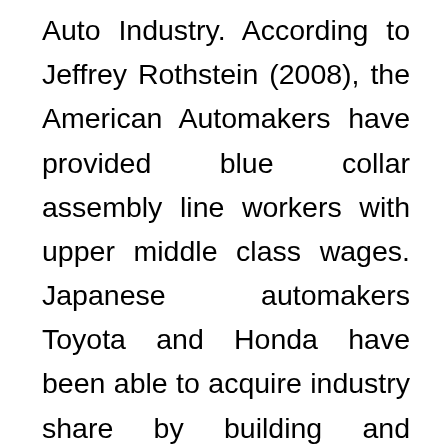Auto Industry. According to Jeffrey Rothstein (2008), the American Automakers have provided blue collar assembly line workers with upper middle class wages. Japanese automakers Toyota and Honda have been able to acquire industry share by building and operating Non-Unionized Plants and practicing lean manufacturing (Rothstein,